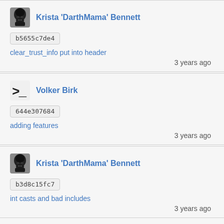Krista 'DarthMama' Bennett
b5655c7de4
clear_trust_info put into header
3 years ago
Volker Birk
644e307684
adding features
3 years ago
Krista 'DarthMama' Bennett
b3d8c15fc7
int casts and bad includes
3 years ago